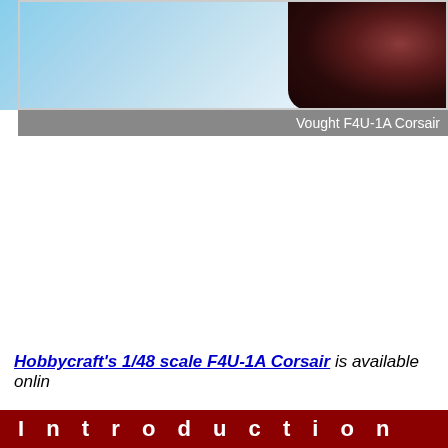[Figure (photo): Photo of a Vought F4U-1A Corsair aircraft, partially visible with blue sky background and a pilot figure on the right side]
Vought F4U-1A Corsair
Hobbycraft's 1/48 scale F4U-1A Corsair is available onlin
I n t r o d u c t i o n